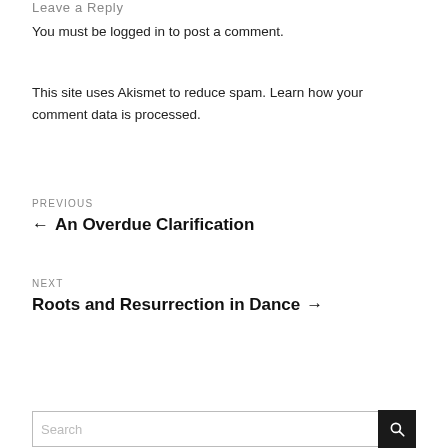Leave a Reply
You must be logged in to post a comment.
This site uses Akismet to reduce spam. Learn how your comment data is processed.
PREVIOUS
← An Overdue Clarification
NEXT
Roots and Resurrection in Dance →
Search